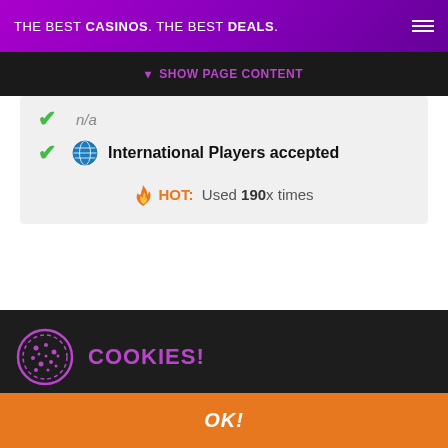THE BEST CASINOS. THE BEST DEALS.
SHOW PAGE CONTENT
n/a
International Players accepted
HOT: Used 190x times
COOKIES!
This website is using cookies to create the best user experience for you. Once you are using our website, you are giving consent to the usage of those cookies.
OK!